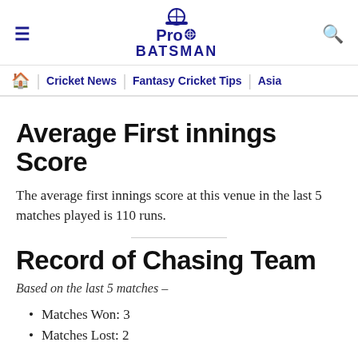Pro Batsman — Cricket News | Fantasy Cricket Tips | Asia
Average First innings Score
The average first innings score at this venue in the last 5 matches played is 110 runs.
Record of Chasing Team
Based on the last 5 matches —
Matches Won: 3
Matches Lost: 2